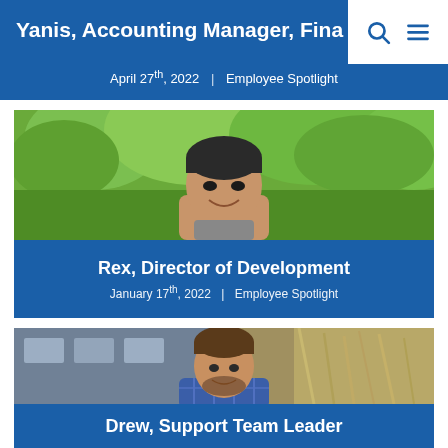Yanis, Accounting Manager, Finance
April 27th, 2022 | Employee Spotlight
[Figure (photo): Portrait photo of Rex outdoors with green trees in background]
Rex, Director of Development
January 17th, 2022 | Employee Spotlight
[Figure (photo): Portrait photo of Drew outdoors with ornamental grasses in background]
Drew, Support Team Leader